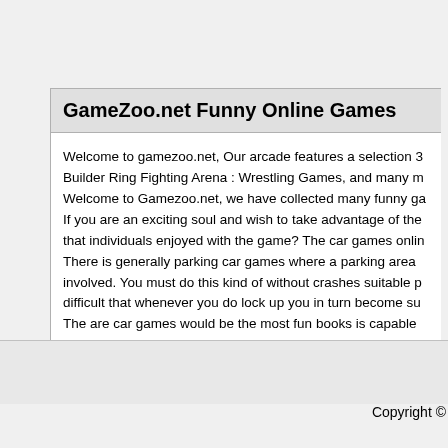GameZoo.net Funny Online Games
Welcome to gamezoo.net, Our arcade features a selection 3 Builder Ring Fighting Arena : Wrestling Games, and many m Welcome to Gamezoo.net, we have collected many funny ga If you are an exciting soul and wish to take advantage of the that individuals enjoyed with the game? The car games onlin There is generally parking car games where a parking area involved. You must do this kind of without crashes suitable p difficult that whenever you do lock up you in turn become su The are car games would be the most fun books is capable or perhaps in opposition with another gambler.
Copyright ©